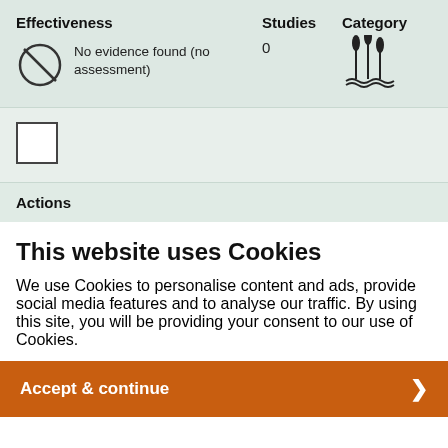| Effectiveness | Studies | Category |
| --- | --- | --- |
| No evidence found (no assessment) | 0 | [wetland icon] |
[Figure (other): Checkbox (empty square)]
Actions
This website uses Cookies
We use Cookies to personalise content and ads, provide social media features and to analyse our traffic. By using this site, you will be providing your consent to our use of Cookies.
Accept & continue